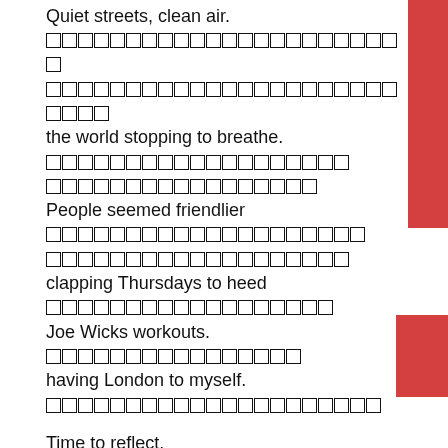Quiet streets, clean air.
[redacted lines]
the world stopping to breathe.
[redacted lines]
People seemed friendlier
[redacted lines]
clapping Thursdays to heed
[redacted lines]
Joe Wicks workouts.
[redacted line]
having London to myself.
[redacted line]

Time to reflect.
[redacted lines]
Unfamiliar rituals
[redacted line]
waving not kissing.